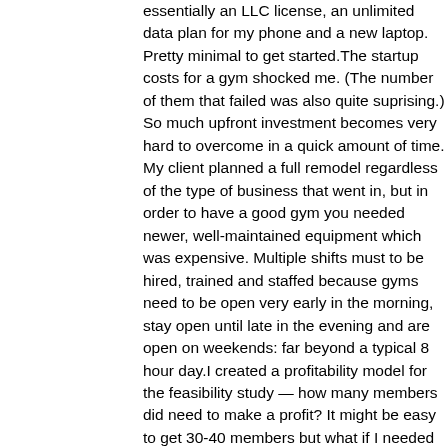essentially an LLC license, an unlimited data plan for my phone and a new laptop. Pretty minimal to get started.The startup costs for a gym shocked me. (The number of them that failed was also quite suprising.) So much upfront investment becomes very hard to overcome in a quick amount of time. My client planned a full remodel regardless of the type of business that went in, but in order to have a good gym you needed newer, well-maintained equipment which was expensive. Multiple shifts must to be hired, trained and staffed because gyms need to be open very early in the morning, stay open until late in the evening and are open on weekends: far beyond a typical 8 hour day.I created a profitability model for the feasibility study — how many members did need to make a profit?  It might be easy to get 30-40 members but what if I needed 75 to break even? What if it was 175?
3. Scope the Competition — How many other solutions are already there? There are always options for your customers, including doing nothing. Do your research on who is competing for your customer' attention. You should